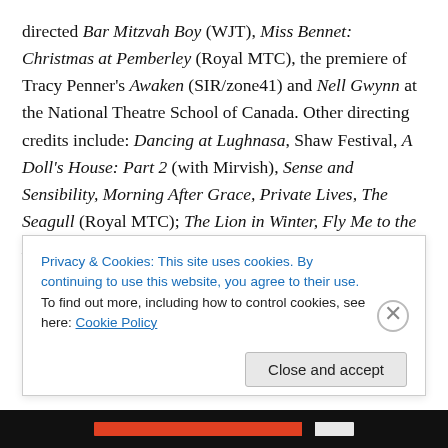directed Bar Mitzvah Boy (WJT), Miss Bennet: Christmas at Pemberley (Royal MTC), the premiere of Tracy Penner's Awaken (SIR/zone41) and Nell Gwynn at the National Theatre School of Canada. Other directing credits include: Dancing at Lughnasa, Shaw Festival, A Doll's House: Part 2 (with Mirvish), Sense and Sensibility, Morning After Grace, Private Lives, The Seagull (Royal MTC); The Lion in Winter, Fly Me to the Moon, (The Grand Theatre); The Miser of Middlegate (zone41/TPM); Village Wooing (zone41). Associate Director: All My Sons (Stratford Festival); Krista is the founding artistic...
Privacy & Cookies: This site uses cookies. By continuing to use this website, you agree to their use. To find out more, including how to control cookies, see here: Cookie Policy
Close and accept